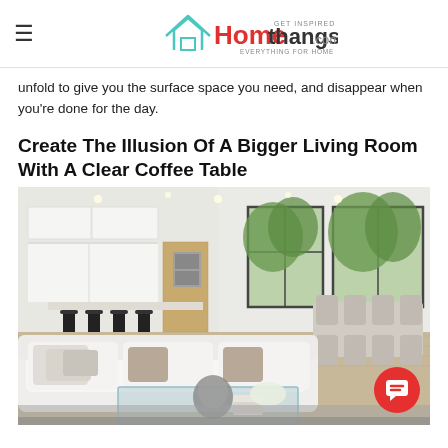Homethangs.com — GET INSPIRED EVERYTHING FOR HOME
unfold to give you the surface space you need, and disappear when you're done for the day.
Create The Illusion Of A Bigger Living Room With A Clear Coffee Table
[Figure (photo): Modern open-plan living room with white sectional sofa, glass coffee table, kitchen island with bar stools, and dining area with large windows showing greenery outside.]